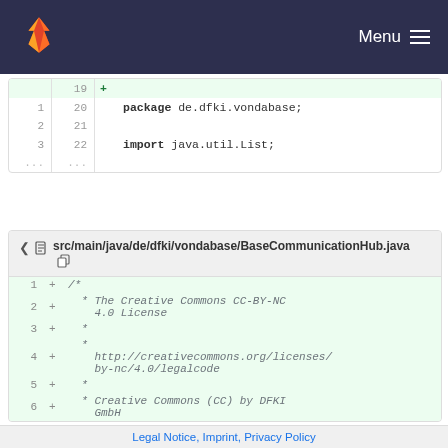Menu
[Figure (screenshot): GitLab diff view showing code snippet with line numbers 19-22 and dots, with package and import statements. Line 19 is a new added line (+), line 20 shows 'package de.dfki.vondabase;', line 22 shows 'import java.util.List;']
[Figure (screenshot): GitLab file header for src/main/java/de/dfki/vondabase/BaseCommunicationHub.java with collapse and copy icons, followed by diff lines 1-6 showing a Creative Commons license comment block]
Legal Notice, Imprint, Privacy Policy